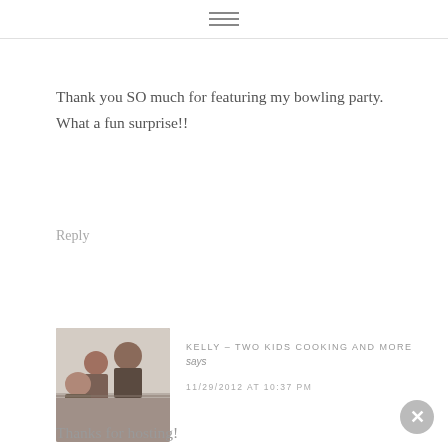≡
Thank you SO much for featuring my bowling party. What a fun surprise!!
Reply
[Figure (photo): Avatar photo of Kelly - Two Kids Cooking and More, showing women and children in a kitchen]
KELLY – TWO KIDS COOKING AND MORE says
11/29/2012 AT 10:37 PM
Thanks for hosting!